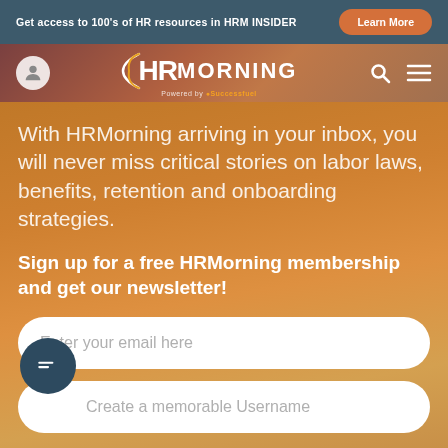Get access to 100's of HR resources in HRM INSIDER | Learn More
[Figure (logo): HRMorning logo with circular arc and 'Powered by Successfuel' text]
With HRMorning arriving in your inbox, you will never miss critical stories on labor laws, benefits, retention and onboarding strategies.
Sign up for a free HRMorning membership and get our newsletter!
Enter your email here
Create a memorable Username